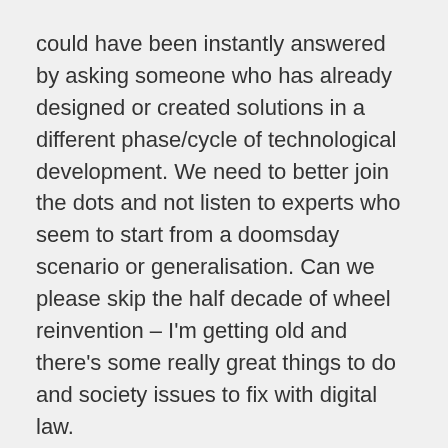could have been instantly answered by asking someone who has already designed or created solutions in a different phase/cycle of technological development. We need to better join the dots and not listen to experts who seem to start from a doomsday scenario or generalisation. Can we please skip the half decade of wheel reinvention – I'm getting old and there's some really great things to do and society issues to fix with digital law.
Tim Lennon: I'm always fascinated how, in history, we find a simplification of something that happened, and stick with it as if people before us were idiots: it took them an absolutely age to legislate for the Plimsoll